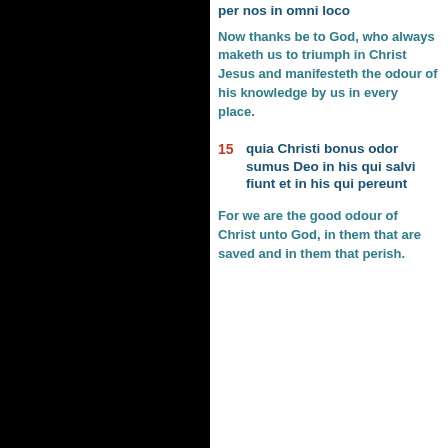per nos in omni loco
Now thanks be to God, who always maketh us to triumph in Christ Jesus and manifesteth the odour of his knowledge by us in every place.
15 quia Christi bonus odor sumus Deo in his qui salvi fiunt et in his qui pereunt
For we are the good odour of Christ unto God, in them that are saved and in them that perish.